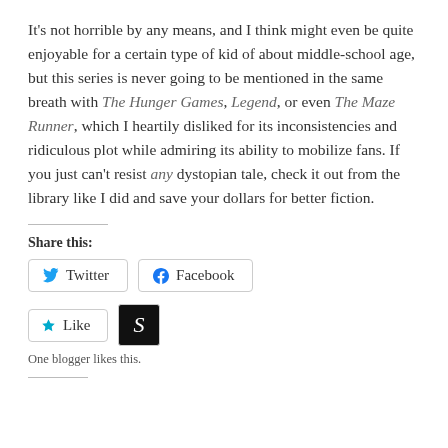It's not horrible by any means, and I think might even be quite enjoyable for a certain type of kid of about middle-school age, but this series is never going to be mentioned in the same breath with The Hunger Games, Legend, or even The Maze Runner, which I heartily disliked for its inconsistencies and ridiculous plot while admiring its ability to mobilize fans. If you just can't resist any dystopian tale, check it out from the library like I did and save your dollars for better fiction.
Share this:
Twitter  Facebook
Like  [blogger avatar]
One blogger likes this.